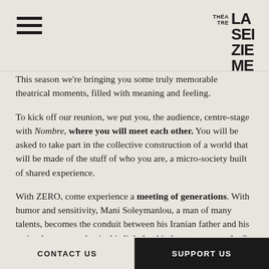[Figure (logo): Théâtre La Seizième logo with hamburger menu icon on the left and stylized text logo on the right reading LA SEI ZIE ME with THEA TRE in smaller text beside it]
This season we're bringing you some truly memorable theatrical moments, filled with meaning and feeling.
To kick off our reunion, we put you, the audience, centre-stage with Nombre, where you will meet each other. You will be asked to take part in the collective construction of a world that will be made of the stuff of who you are, a micro-society built of shared experience.
With ZERO, come experience a meeting of generations. With humor and sensitivity, Mani Soleymanlou, a man of many talents, becomes the conduit between his Iranian father and his native-born son: what is this link that binds us to one another? Exiled first in France and now Quebecois by choice, Mani speaks of acceptance of the other, of the construction of a more tolerant world.
Come to the meeting between Marie-Thérèse Fortin and
CONTACT US    SUPPORT US